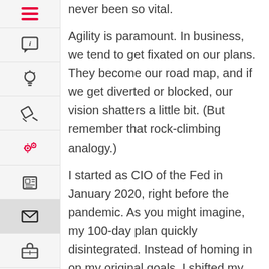never been so vital.
Agility is paramount. In business, we tend to get fixated on our plans. They become our road map, and if we get diverted or blocked, our vision shatters a little bit. (But remember that rock-climbing analogy.)
I started as CIO of the Fed in January 2020, right before the pandemic. As you might imagine, my 100-day plan quickly disintegrated. Instead of homing in on my original goals, I shifted my leadership style to command-and-control crisis management mode. We've had to learn and evolve so fast; at the same time, it's important for me as a leader to be the calm in the storm.